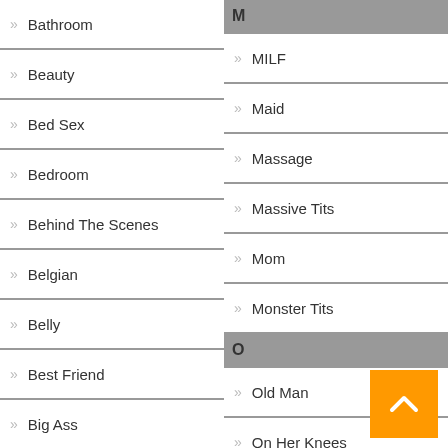Bathroom
Beauty
Bed Sex
Bedroom
Behind The Scenes
Belgian
Belly
Best Friend
Big Ass
M
MILF
Maid
Massage
Massive Tits
Mom
Monster Tits
O
Old Man
On Her Knees